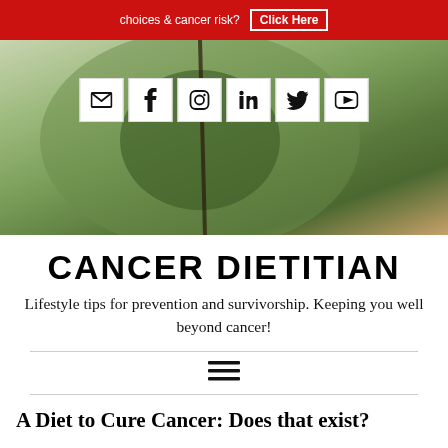choices & cancer risk? Click Here
[Figure (photo): Close-up photo of green fruit (avocado or similar) with social media icon buttons overlaid: email, facebook, instagram, linkedin, twitter, youtube]
CANCER DIETITIAN
Lifestyle tips for prevention and survivorship. Keeping you well beyond cancer!
[Figure (other): Hamburger menu icon (three horizontal lines)]
A Diet to Cure Cancer: Does that exist?